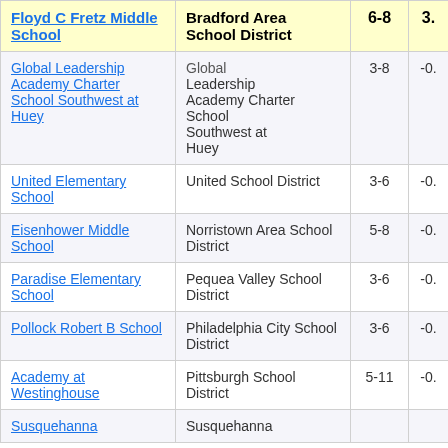| School | District | Grades | Score |
| --- | --- | --- | --- |
| Floyd C Fretz Middle School | Bradford Area School District | 6-8 | 3. |
| Global Leadership Academy Charter School Southwest at Huey | Global Leadership Academy Charter School Southwest at Huey | 3-8 | -0. |
| United Elementary School | United School District | 3-6 | -0. |
| Eisenhower Middle School | Norristown Area School District | 5-8 | -0. |
| Paradise Elementary School | Pequea Valley School District | 3-6 | -0. |
| Pollock Robert B School | Philadelphia City School District | 3-6 | -0. |
| Academy at Westinghouse | Pittsburgh School District | 5-11 | -0. |
| Susquehanna | Susquehanna |  |  |